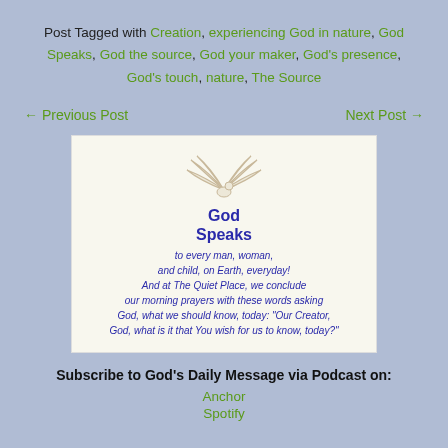Post Tagged with Creation, experiencing God in nature, God Speaks, God the source, God your maker, God's presence, God's touch, nature, The Source
← Previous Post   Next Post →
[Figure (illustration): Card with dove/wings illustration and text: 'God Speaks to every man, woman, and child, on Earth, everyday! And at The Quiet Place, we conclude our morning prayers with these words asking God, what we should know, today: "Our Creator, God, what is it that You wish for us to know, today?"']
Subscribe to God's Daily Message via Podcast on:
Anchor
Spotify